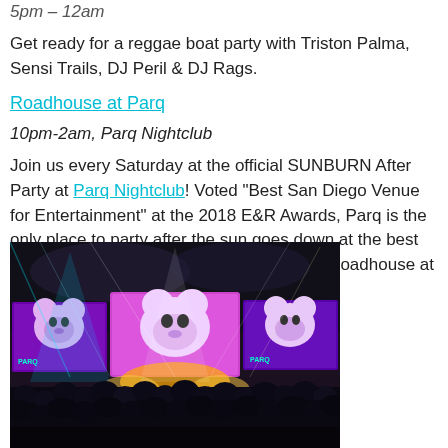5pm – 12am
Get ready for a reggae boat party with Triston Palma, Sensi Trails, DJ Peril & DJ Rags.
Roadhouse at Parq
10pm-2am, Parq Nightclub
Join us every Saturday at the official SUNBURN After Party at Parq Nightclub! Voted “Best San Diego Venue for Entertainment” at the 2018 E&R Awards, Parq is the only place to party after the sun goes down at the best pool party in town. This Saturday features Roadhouse at Parq Nightclub.
[Figure (photo): Crowded nightclub interior with purple and pink LED screens displaying cartoon bears, bright stage lights, audience in silhouette]